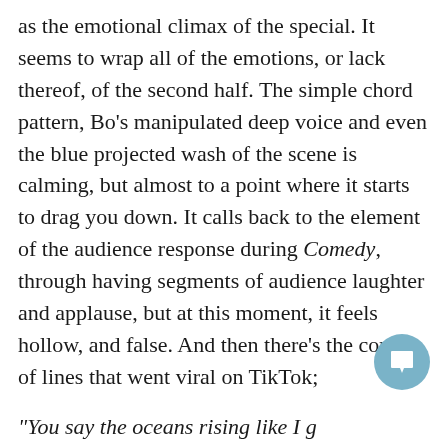as the emotional climax of the special. It seems to wrap all of the emotions, or lack thereof, of the second half. The simple chord pattern, Bo's manipulated deep voice and even the blue projected wash of the scene is calming, but almost to a point where it starts to drag you down. It calls back to the element of the audience response during Comedy, through having segments of audience laughter and applause, but at this moment, it feels hollow, and false. And then there's the couple of lines that went viral on TikTok;
"You say the oceans rising like I give a sh*t
You say 'the whole world's ending'